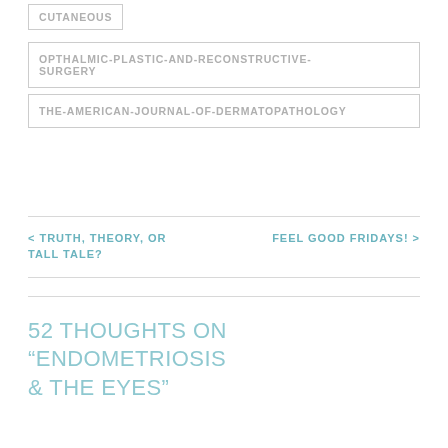CUTANEOUS
OPTHALMIC-PLASTIC-AND-RECONSTRUCTIVE-SURGERY
THE-AMERICAN-JOURNAL-OF-DERMATOPATHOLOGY
< TRUTH, THEORY, OR TALL TALE?
FEEL GOOD FRIDAYS! >
52 THOUGHTS ON “ENDOMETRIOSIS & THE EYES”